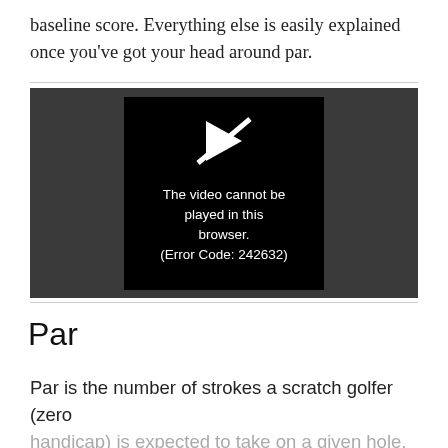baseline score. Everything else is easily explained once you've got your head around par.
[Figure (screenshot): Video player showing error message: 'The video cannot be played in this browser. (Error Code: 242632)']
Par
Par is the number of strokes a scratch golfer (zero handicap) is expected to take on a given hole. So, if the first hole on your home course is a par three,